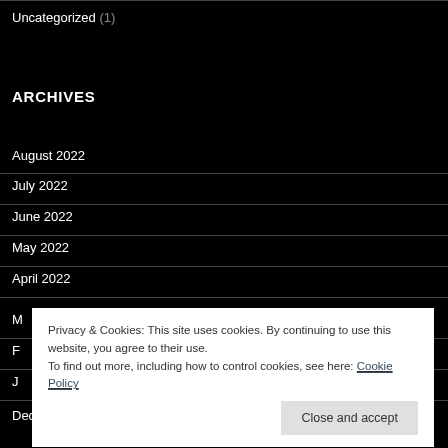Uncategorized (1)
ARCHIVES
August 2022
July 2022
June 2022
May 2022
April 2022
March 2022
February 2022
January 2022
December 2021
Privacy & Cookies: This site uses cookies. By continuing to use this website, you agree to their use.
To find out more, including how to control cookies, see here: Cookie Policy